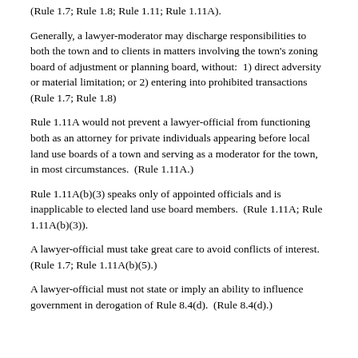(Rule 1.7; Rule 1.8; Rule 1.11; Rule 1.11A).
Generally, a lawyer-moderator may discharge responsibilities to both the town and to clients in matters involving the town’s zoning board of adjustment or planning board, without: 1) direct adversity or material limitation; or 2) entering into prohibited transactions (Rule 1.7; Rule 1.8)
Rule 1.11A would not prevent a lawyer-official from functioning both as an attorney for private individuals appearing before local land use boards of a town and serving as a moderator for the town, in most circumstances. (Rule 1.11A.)
Rule 1.11A(b)(3) speaks only of appointed officials and is inapplicable to elected land use board members. (Rule 1.11A; Rule 1.11A(b)(3)).
A lawyer-official must take great care to avoid conflicts of interest. (Rule 1.7; Rule 1.11A(b)(5).)
A lawyer-official must not state or imply an ability to influence government in derogation of Rule 8.4(d). (Rule 8.4(d).)